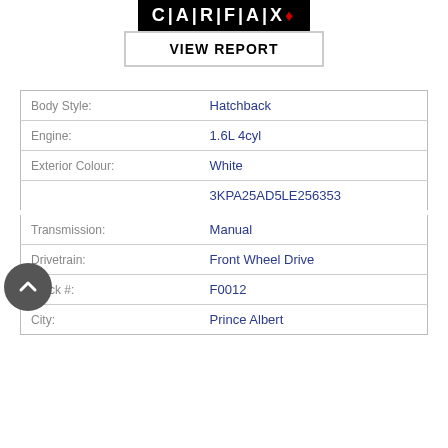[Figure (logo): CARFAX Canada logo with maple leaf and VIEW REPORT button]
| Body Style: | Hatchback |
| Engine: | 1.6L 4cyl |
| Exterior Colour: | White |
| VIN: | 3KPA25AD5LE256353 |
| Transmission: | Manual |
| Drivetrain: | Front Wheel Drive |
| Stock #: | F0012 |
| City: | Prince Albert |
Online  Any sales questions? Connect with us now!
C... 1-3105 Sa...
Overview
Combined
Engine 1.6...